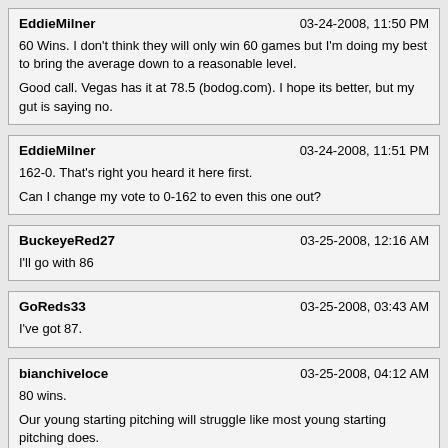EddieMilner — 03-24-2008, 11:50 PM
60 Wins. I don't think they will only win 60 games but I'm doing my best to bring the average down to a reasonable level.

Good call. Vegas has it at 78.5 (bodog.com). I hope its better, but my gut is saying no.
EddieMilner — 03-24-2008, 11:51 PM
162-0. That's right you heard it here first.

Can I change my vote to 0-162 to even this one out?
BuckeyeRed27 — 03-25-2008, 12:16 AM
I'll go with 86
GoReds33 — 03-25-2008, 03:43 AM
I've got 87.
bianchiveloce — 03-25-2008, 04:12 AM
80 wins.

Our young starting pitching will struggle like most young starting pitching does.
BLEEDS — 03-25-2008, 10:30 AM
Good call. Vegas has it at 78.5 (bodog.com). I hope its better, but my gut is saying no.